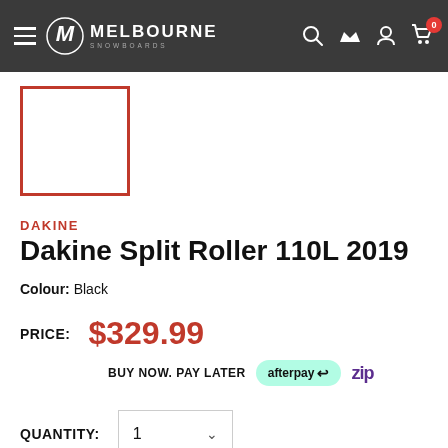Melbourne Snowboards — navigation header
[Figure (screenshot): Product thumbnail placeholder — empty white box with red border]
DAKINE
Dakine Split Roller 110L 2019
Colour: Black
PRICE: $329.99
BUY NOW. PAY LATER — afterpay — Zip
QUANTITY: 1